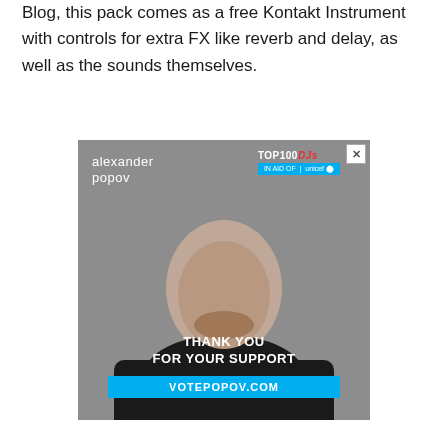Blog, this pack comes as a free Kontakt Instrument with controls for extra FX like reverb and delay, as well as the sounds themselves.
[Figure (photo): Advertisement banner for Alexander Popov featuring a bald man in a black shirt against a grey background. Top left shows 'alexander popov' in white text. Top right shows 'TOP100 DJs IN AID OF unicef' badge. Bottom text reads 'THANK YOU FOR YOUR SUPPORT' and 'VOTEPOPOV.COM' on a cyan bar. A close/X button is in the top right corner.]